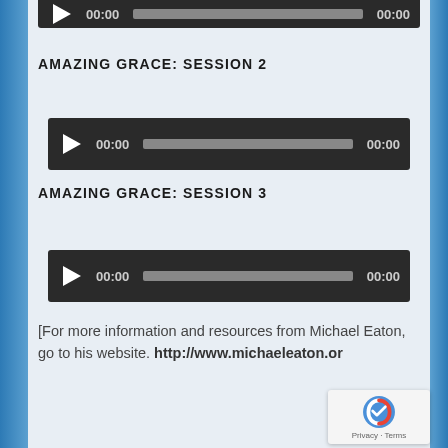[Figure (screenshot): Audio player (partial, top cut off) with dark background showing play button, 00:00 timestamp, progress bar, and 00:00 end time]
AMAZING GRACE: SESSION 2
[Figure (screenshot): Audio player with dark background showing play button, 00:00 timestamp, progress bar, and 00:00 end time]
AMAZING GRACE: SESSION 3
[Figure (screenshot): Audio player with dark background showing play button, 00:00 timestamp, progress bar, and 00:00 end time]
[For more information and resources from Michael Eaton, go to his website. http://www.michaeleaton.or